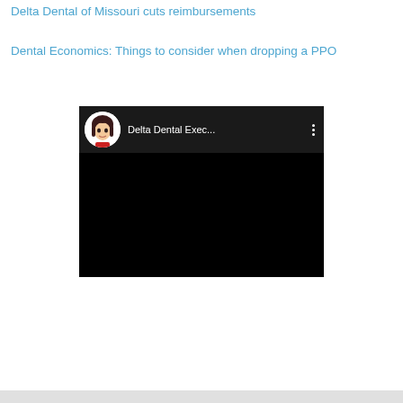Delta Dental of Missouri cuts reimbursements
Dental Economics: Things to consider when dropping a PPO
[Figure (screenshot): Embedded YouTube video screenshot showing a dark/black video player with a channel header bar displaying a cartoon female avatar and the channel name 'Delta Dental Exec...' with a three-dot menu icon on a dark background.]